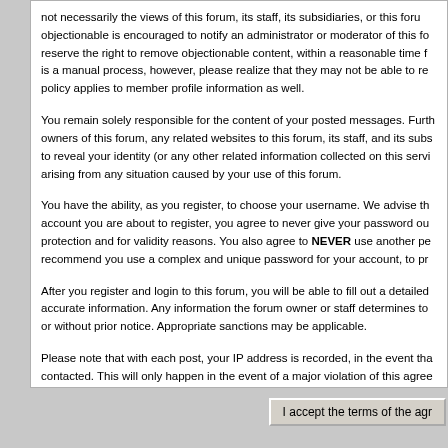not necessarily the views of this forum, its staff, its subsidiaries, or this forum objectionable is encouraged to notify an administrator or moderator of this fo reserve the right to remove objectionable content, within a reasonable time f is a manual process, however, please realize that they may not be able to re policy applies to member profile information as well.
You remain solely responsible for the content of your posted messages. Furth owners of this forum, any related websites to this forum, its staff, and its subs to reveal your identity (or any other related information collected on this servi arising from any situation caused by your use of this forum.
You have the ability, as you register, to choose your username. We advise th account you are about to register, you agree to never give your password ou protection and for validity reasons. You also agree to NEVER use another pe recommend you use a complex and unique password for your account, to pr
After you register and login to this forum, you will be able to fill out a detailed accurate information. Any information the forum owner or staff determines to or without prior notice. Appropriate sanctions may be applicable.
Please note that with each post, your IP address is recorded, in the event tha contacted. This will only happen in the event of a major violation of this agree
Also note that the software places a cookie, a text file containing bits of infor browser's cache. This is ONLY used to keep you logged in/out. The software to your computer.
I accept the terms of the agr